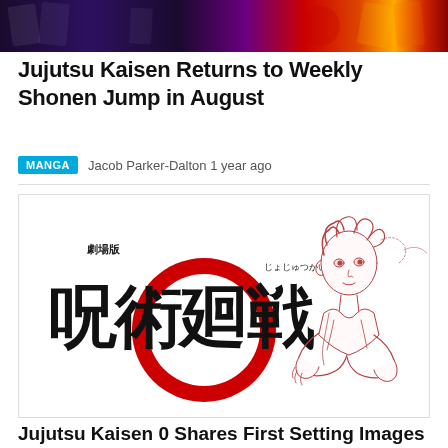[Figure (illustration): Colorful banner image at top of page with dark purple, red, and orange tones, appears to show manga/anime merchandise or artwork in the background]
Jujutsu Kaisen Returns to Weekly Shonen Jump in August
MANGA   Jacob Parker-Dalton 1 year ago
[Figure (illustration): Jujutsu Kaisen 0 movie logo on the left side (Japanese kanji 呪術廻戦 with a large red circle containing the number 0, and small text 劇場版 above and じょじゅつかいせん to the right), with a red-toned pencil sketch of a young male character on the right side]
Jujutsu Kaisen 0 Shares First Setting Images of Maki Zenin, Togi Inumaki, and Panda